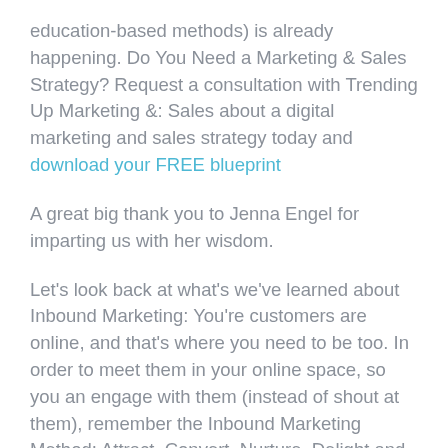education-based methods) is already happening. Do You Need a Marketing & Sales Strategy? Request a consultation with Trending Up Marketing &: Sales about a digital marketing and sales strategy today and download your FREE blueprint
A great big thank you to Jenna Engel for imparting us with her wisdom.
Let's look back at what's we've learned about Inbound Marketing: You're customers are online, and that's where you need to be too. In order to meet them in your online space, so you an engage with them (instead of shout at them), remember the Inbound Marketing Method: Attract, Convert, Nurture, Delight and Measure. Create a strategy by researching your target audience, clarifying your goals, analyzing your current marketing plan as well as your game plan to improve it, design content designed to attract, convert, and close, and educate your sales team on your new